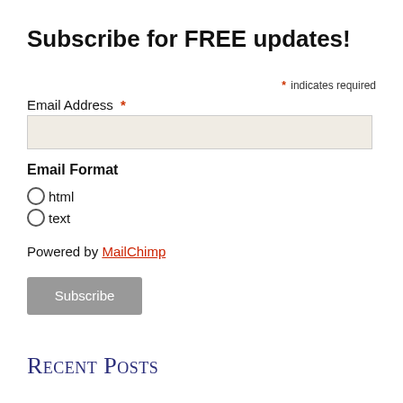Subscribe for FREE updates!
* indicates required
Email Address *
Email Format
html
text
Powered by MailChimp
Subscribe
Recent Posts